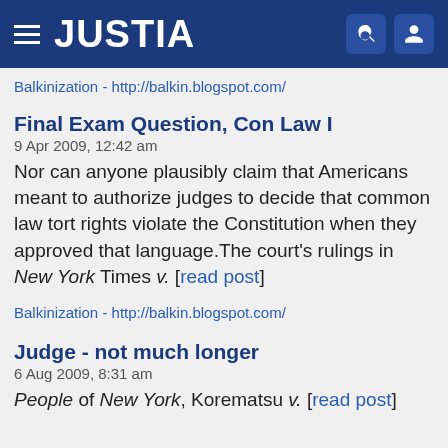JUSTIA
Balkinization - http://balkin.blogspot.com/
Final Exam Question, Con Law I
9 Apr 2009, 12:42 am
Nor can anyone plausibly claim that Americans meant to authorize judges to decide that common law tort rights violate the Constitution when they approved that language.The court's rulings in New York Times v. [read post]
Balkinization - http://balkin.blogspot.com/
Judge - not much longer
6 Aug 2009, 8:31 am
People of New York, Korematsu v. [read post]